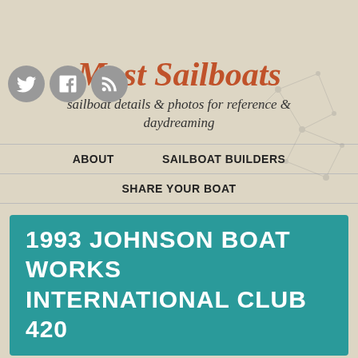[Figure (illustration): Three social media icon circles (Twitter bird, Facebook f, RSS feed) in gray on top-left]
Most Sailboats
sailboat details & photos for reference & daydreaming
ABOUT   SAILBOAT BUILDERS
SHARE YOUR BOAT
1993 JOHNSON BOAT WORKS INTERNATIONAL CLUB 420
5 October, 2011 by EVAN
About